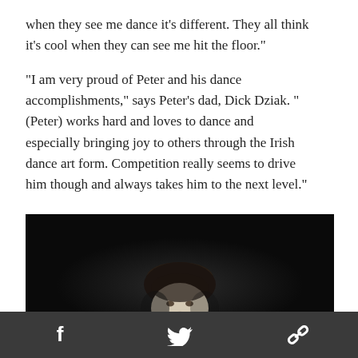when they see me dance it’s different. They all think it’s cool when they can see me hit the floor.”
“I am very proud of Peter and his dance accomplishments,” says Peter’s dad, Dick Dziak. “(Peter) works hard and loves to dance and especially bringing joy to others through the Irish dance art form. Competition really seems to drive him though and always takes him to the next level.”
[Figure (photo): Black and white portrait photo of a young boy with short dark hair, dramatically lit against a dark background, only his face and top of head illuminated.]
Social share icons: Facebook, Twitter, Link